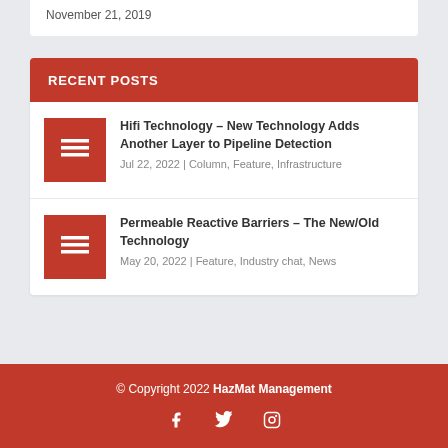November 21, 2019
RECENT POSTS
Hifi Technology – New Technology Adds Another Layer to Pipeline Detection
Jul 22, 2022 | Column, Feature, Infrastructure
Permeable Reactive Barriers – The New/Old Technology
May 20, 2022 | Feature, Industry chat, News
© Copyright 2022 HazMat Management